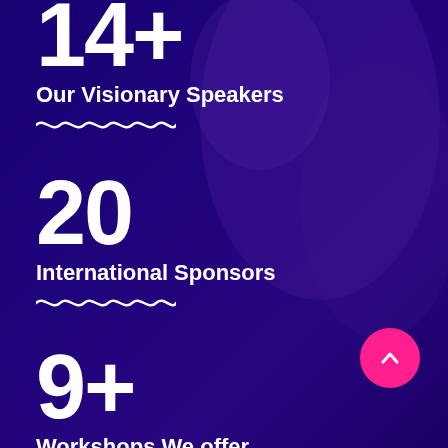14+
Our Visionary Speakers
20
International Sponsors
9+
Workshops We offer